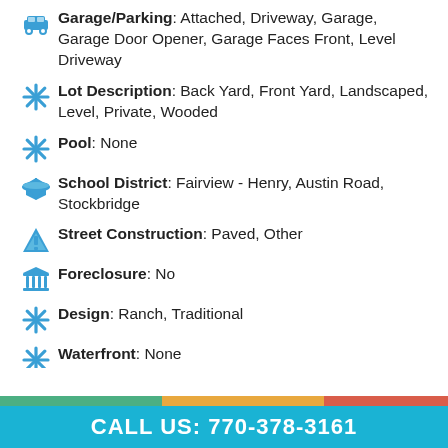Garage/Parking: Attached, Driveway, Garage, Garage Door Opener, Garage Faces Front, Level Driveway
Lot Description: Back Yard, Front Yard, Landscaped, Level, Private, Wooded
Pool: None
School District: Fairview - Henry, Austin Road, Stockbridge
Street Construction: Paved, Other
Foreclosure: No
Design: Ranch, Traditional
Waterfront: None
View: Other
Basement: None
CALL US: 770-378-3161